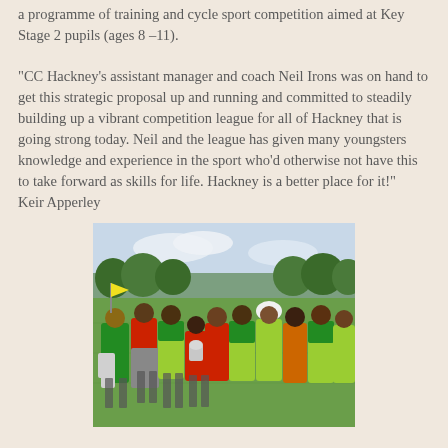a programme of training and cycle sport competition aimed at Key Stage 2 pupils (ages 8 –11).
"CC Hackney's assistant manager and coach Neil Irons was on hand to get this strategic proposal up and running and committed to steadily building up a vibrant competition league for all of Hackney that is going strong today. Neil and the league has given many youngsters knowledge and experience in the sport who'd otherwise not have this to take forward as skills for life. Hackney is a better place for it!" Keir Apperley
[Figure (photo): Group of children and young people standing on a sports field/park. Several wearing yellow and green checked jerseys and red tops. One child in the centre holds a trophy/shield. One child wears a white cycling helmet. Trees visible in the background.]